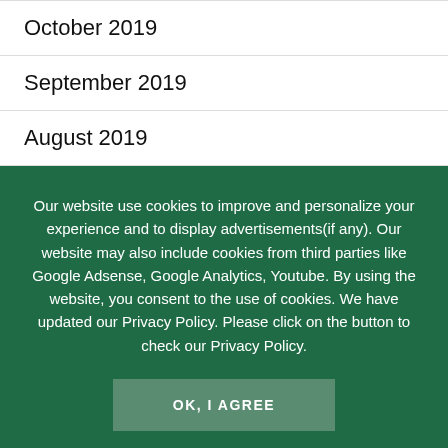October 2019
September 2019
August 2019
Our website use cookies to improve and personalize your experience and to display advertisements(if any). Our website may also include cookies from third parties like Google Adsense, Google Analytics, Youtube. By using the website, you consent to the use of cookies. We have updated our Privacy Policy. Please click on the button to check our Privacy Policy.
OK, I AGREE